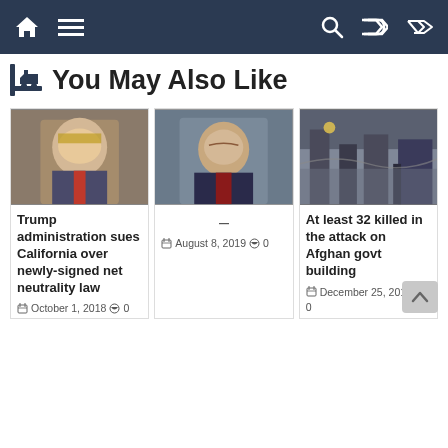Navigation bar with home, menu, search, and shuffle icons
You May Also Like
[Figure (photo): Photo of Donald Trump in a suit with red tie, seated]
Trump administration sues California over newly-signed net neutrality law
October 1, 2018  0
[Figure (photo): Photo of an Asian man in a suit, smiling]
–
August 8, 2019  0
[Figure (photo): Photo of a building/skyline scene, possibly in Afghanistan]
At least 32 killed in the attack on Afghan govt building
December 25, 2018  0